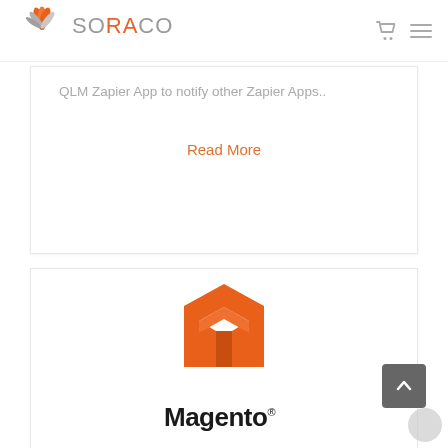SORACO
QLM Zapier App to notify other Zapier Apps..
Read More
[Figure (logo): Magento logo with orange magnet icon and Magento wordmark in black with registered trademark symbol]